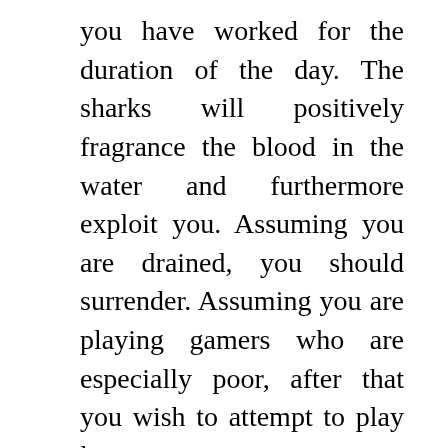you have worked for the duration of the day. The sharks will positively fragrance the blood in the water and furthermore exploit you. Assuming you are drained, you should surrender. Assuming you are playing gamers who are especially poor, after that you wish to attempt to play longer games.
Potential outcomes are assuming the terrible gamers have really been wagering a significant stretch of time, they will acquire depleted, returning to what we was